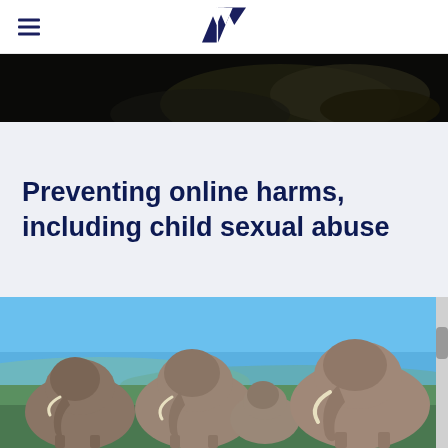Navigation header with hamburger menu and logo
[Figure (photo): Dark moody image strip at the top of the page, appears to be a close-up dark photograph]
Preventing online harms, including child sexual abuse
[Figure (photo): Photograph of a herd of African elephants walking on a savanna with blue sky background]